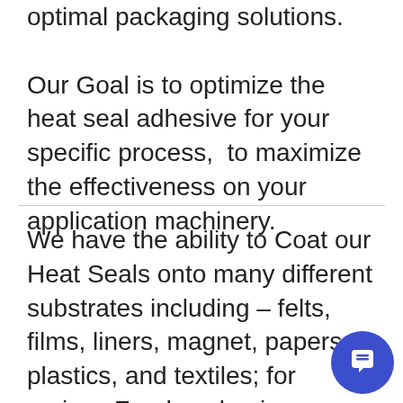optimal packaging solutions.
Our Goal is to optimize the heat seal adhesive for your specific process,  to maximize the effectiveness on your application machinery.
We have the ability to Coat our Heat Seals onto many different substrates including – felts, films, liners, magnet, papers, plastics, and textiles; for various Food packaging, Medical and Industrial applications.